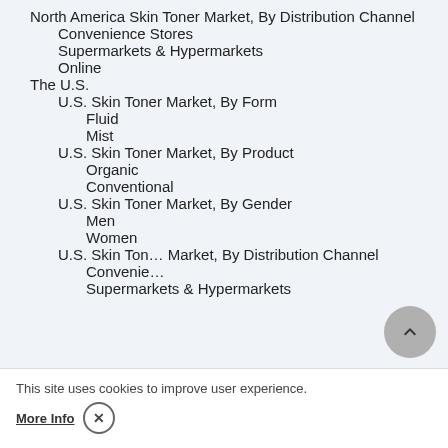North America Skin Toner Market, By Distribution Channel
Convenience Stores
Supermarkets & Hypermarkets
Online
The U.S.
U.S. Skin Toner Market, By Form
Fluid
Mist
U.S. Skin Toner Market, By Product
Organic
Conventional
U.S. Skin Toner Market, By Gender
Men
Women
U.S. Skin Toner Market, By Distribution Channel
Convenience Stores
Supermarkets & Hypermarkets
This site uses cookies to improve user experience. More Info